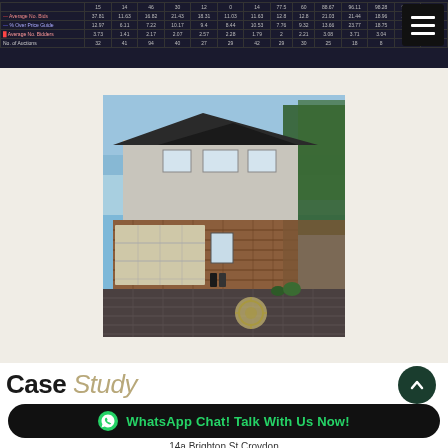|  | 15 | 14 | 46 | 30 | 12 | 0 | 14 | 77.5 | 60 | 88.67 | 96.11 | 98.28 | 98.18 | 98.88 |
| --- | --- | --- | --- | --- | --- | --- | --- | --- | --- | --- | --- | --- | --- | --- |
| Average No. Bids | 37.81 | 11.63 | 16.82 | 21.43 | 18.31 | 11.03 | 11.63 | 12.8 | 12.8 | 21.03 | 21.44 | 18.96 | 21.21 | 21.62 |
| % Over Price Guide | 12.97 | 6.11 | 7.22 | 10.17 | 9.4 | 8.44 | 10.53 | 7.76 | 9.32 | 13.66 | 23.77 | 18.75 | 12.37 |  |
| Average No. Bidders | 3.73 | 1.41 | 2.17 | 2.07 | 2.57 | 2.28 | 1.79 | 2 | 2.21 | 3.08 | 3.71 | 3.04 |  |  |
| No. of Auctions | 32 | 41 | 94 | 40 | 27 | 29 | 42 | 29 | 30 | 25 | 18 | 8 |  |  |
[Figure (photo): Exterior photo of a modern two-storey home with brick lower level, render upper level with dark roof, double garage, ornamental paved driveway with circular medallion, and trees in background.]
Case Study
WhatsApp Chat! Talk With Us Now!
14a Brighton St Croydon